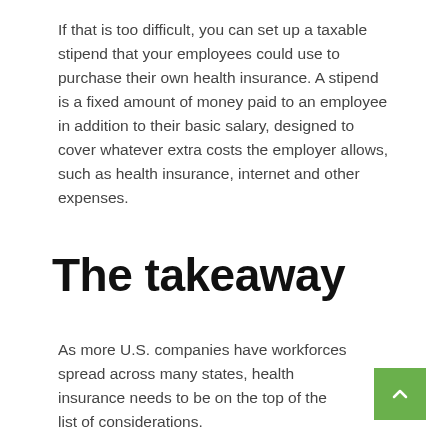If that is too difficult, you can set up a taxable stipend that your employees could use to purchase their own health insurance. A stipend is a fixed amount of money paid to an employee in addition to their basic salary, designed to cover whatever extra costs the employer allows, such as health insurance, internet and other expenses.
The takeaway
As more U.S. companies have workforces spread across many states, health insurance needs to be on the top of the list of considerations.